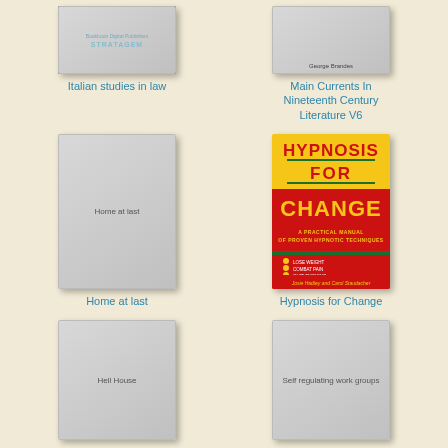[Figure (illustration): Book cover for 'Italian studies in law' — dark blue cover]
Italian studies in law
[Figure (illustration): Book cover for 'Main Currents In Nineteenth Century Literature V6' — yellow cover with author George Brandes]
Main Currents In Nineteenth Century Literature V6
[Figure (illustration): Placeholder book cover for 'Home at last' — gray cover]
Home at last
[Figure (illustration): Book cover for 'Hypnosis for Change' — yellow and red cover, A Practical Manual of Proven Hypnotic Techniques, by Josie Hadley and Carol Staudacher]
Hypnosis for Change
[Figure (illustration): Placeholder book cover for 'Hell House' — gray cover]
Hell House
[Figure (illustration): Placeholder book cover for 'Self regulating work groups' — gray cover]
Self regulating work groups